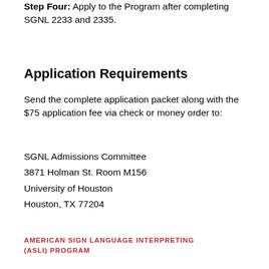Step Four: Apply to the Program after completing SGNL 2233 and 2335.
Application Requirements
Send the complete application packet along with the $75 application fee via check or money order to:
SGNL Admissions Committee
3871 Holman St. Room M156
University of Houston
Houston, TX 77204
AMERICAN SIGN LANGUAGE INTERPRETING (ASLI) PROGRAM